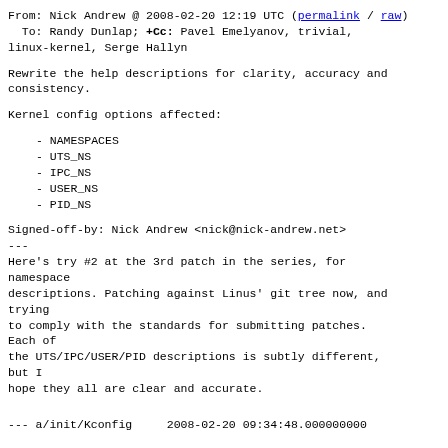From: Nick Andrew @ 2008-02-20 12:19 UTC (permalink / raw)
  To: Randy Dunlap; +Cc: Pavel Emelyanov, trivial, linux-kernel, Serge Hallyn
Rewrite the help descriptions for clarity, accuracy and consistency.
Kernel config options affected:
- NAMESPACES
- UTS_NS
- IPC_NS
- USER_NS
- PID_NS
Signed-off-by: Nick Andrew <nick@nick-andrew.net>
---
Here's try #2 at the 3rd patch in the series, for namespace
descriptions. Patching against Linus' git tree now, and trying
to comply with the standards for submitting patches. Each of
the UTS/IPC/USER/PID descriptions is subtly different, but I
hope they all are clear and accurate.
--- a/init/Kconfig    2008-02-20 09:34:48.000000000